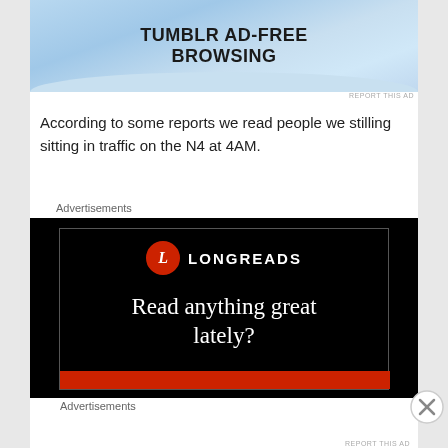[Figure (illustration): Tumblr Ad-Free Browsing banner advertisement with sky/wave background]
REPORT THIS AD
According to some reports we read people we stilling sitting in traffic on the N4 at 4AM.
Advertisements
[Figure (illustration): Longreads advertisement on black background with red circle L logo, text: Read anything great lately?]
Advertisements
REPORT THIS AD